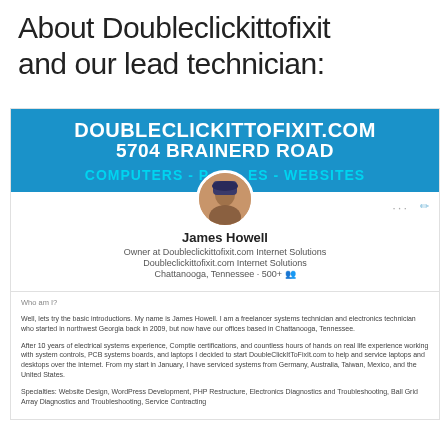About Doubleclickittofixit and our lead technician:
[Figure (screenshot): LinkedIn-style profile screenshot showing a blue banner with 'DOUBLECLICKITTOFIXIT.COM', '5704 BRAINERD ROAD', 'COMPUTERS - PHONES - WEBSITES', profile photo of James Howell, with bio text describing his background as a freelancer systems technician.]